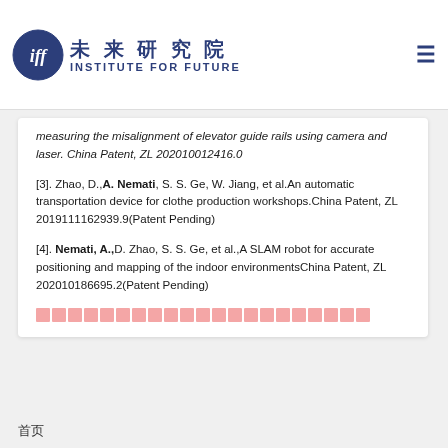未来研究院 INSTITUTE FOR FUTURE
measuring the misalignment of elevator guide rails using camera and laser. China Patent, ZL 202010012416.0
[3]. Zhao, D., A. Nemati, S. S. Ge, W. Jiang, et al. An automatic transportation device for clothe production workshops. China Patent, ZL 2019111162939.9(Patent Pending)
[4]. Nemati, A., D. Zhao, S. S. Ge, et al., A SLAM robot for accurate positioning and mapping of the indoor environments China Patent, ZL 202010186695.2(Patent Pending)
[redacted Chinese text]
首页